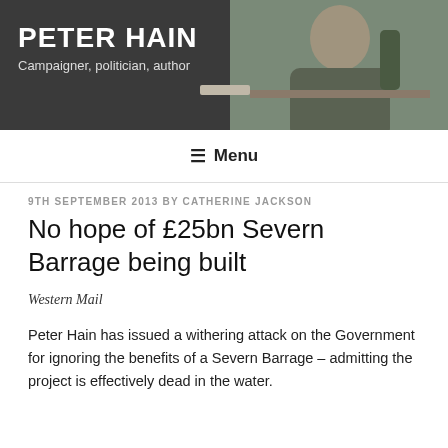PETER HAIN
Campaigner, politician, author
☰ Menu
9TH SEPTEMBER 2013 BY CATHERINE JACKSON
No hope of £25bn Severn Barrage being built
Western Mail
Peter Hain has issued a withering attack on the Government for ignoring the benefits of a Severn Barrage – admitting the project is effectively dead in the water.